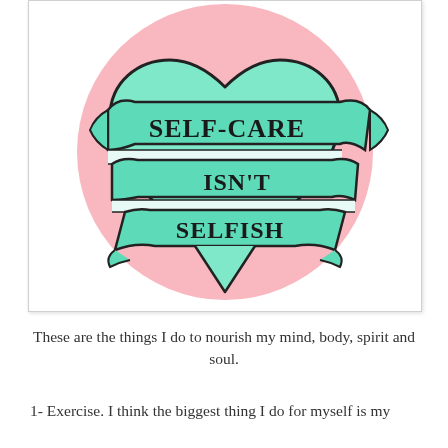[Figure (illustration): Illustration of a heart shape on a pink circle background, with a teal/mint green ribbon banner across it reading 'SELF-CARE ISN'T SELFISH' in hand-lettered style text.]
These are the things I do to nourish my mind, body, spirit and soul.
1- Exercise. I think the biggest thing I do for myself is my